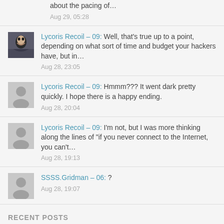about the pacing of…
Aug 29, 05:28
Lycoris Recoil – 09: Well, that's true up to a point, depending on what sort of time and budget your hackers have, but in… Aug 28, 23:05
Lycoris Recoil – 09: Hmmm??? It went dark pretty quickly. I hope there is a happy ending. Aug 28, 20:04
Lycoris Recoil – 09: I'm not, but I was more thinking along the lines of "if you never connect to the Internet, you can't… Aug 28, 19:13
SSSS.Gridman – 06: ? Aug 28, 19:07
RECENT POSTS